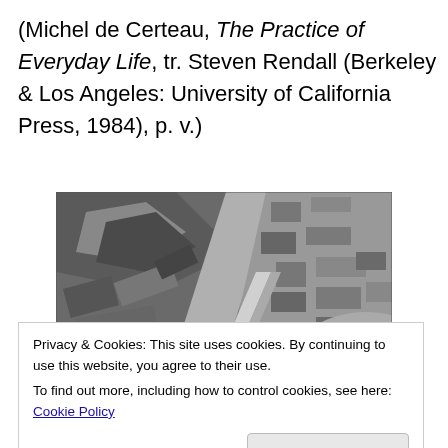(Michel de Certeau, The Practice of Everyday Life, tr. Steven Rendall (Berkeley & Los Angeles: University of California Press, 1984), p. v.)
[Figure (photo): Black and white aerial/satellite photograph of a dense urban area, showing streets, buildings, and what appears to be a riverbank or coastline. A 'Google' watermark is visible in the lower right corner.]
Privacy & Cookies: This site uses cookies. By continuing to use this website, you agree to their use.
To find out more, including how to control cookies, see here: Cookie Policy
Close and accept
[Figure (photo): Partial black and white aerial photograph visible at the bottom of the page, continuation of the urban aerial view.]